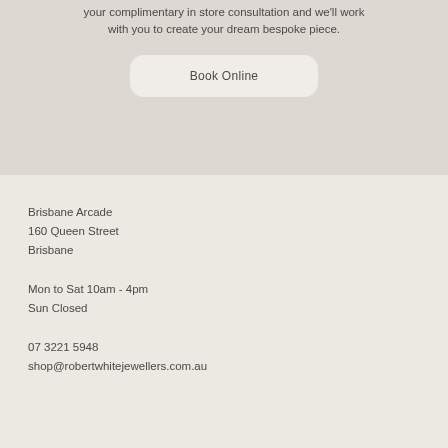your complimentary in store consultation and we'll work with you to create your dream bespoke piece.
Book Online
Brisbane Arcade
160 Queen Street
Brisbane
Mon to Sat 10am - 4pm
Sun Closed
07 3221 5948
shop@robertwhitejewellers.com.au